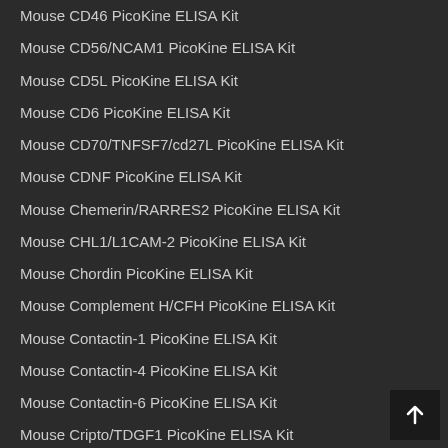Mouse CD46 PicoKine ELISA Kit
Mouse CD56/NCAM1 PicoKine ELISA Kit
Mouse CD5L PicoKine ELISA Kit
Mouse CD6 PicoKine ELISA Kit
Mouse CD70/TNFSF7/cd27L PicoKine ELISA Kit
Mouse CDNF PicoKine ELISA Kit
Mouse Chemerin/RARRES2 PicoKine ELISA Kit
Mouse CHL1/L1CAM-2 PicoKine ELISA Kit
Mouse Chordin PicoKine ELISA Kit
Mouse Complement H/CFH PicoKine ELISA Kit
Mouse Contactin-1 PicoKine ELISA Kit
Mouse Contactin-4 PicoKine ELISA Kit
Mouse Contactin-6 PicoKine ELISA Kit
Mouse Cripto/TDGF1 PicoKine ELISA Kit
Mouse CRLF2/TSLP R PicoKine ELISA Kit
Mouse CXADR PicoKine ELISA Kit
Mouse CXCL17 PicoKine ELISA Kit
Mouse CXCL3 PicoKine ELISA Kit